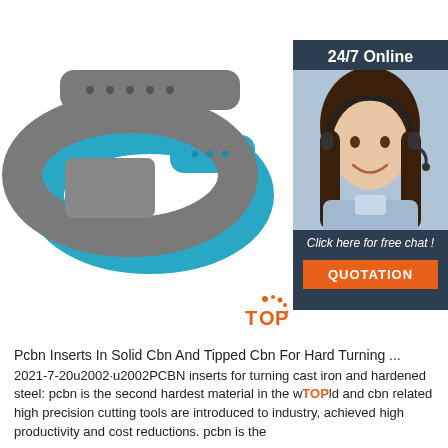[Figure (photo): Two wristbands/fitness trackers - one gray and one blue, overlapping each other on white background. A customer service chat widget is overlaid on the right side showing '24/7 Online', a woman with a headset, 'Click here for free chat!' text and an orange QUOTATION button.]
Pcbn Inserts In Solid Cbn And Tipped Cbn For Hard Turning ...
2021-7-20u2002·u2002PCBN inserts for turning cast iron and hardened steel: pcbn is the second hardest material in the world, and cbn related high precision cutting tools are introduced to industry, achieved high productivity and cost reductions. pcbn is the diamond alternatives for cemented carbide inserts and cutting tools.